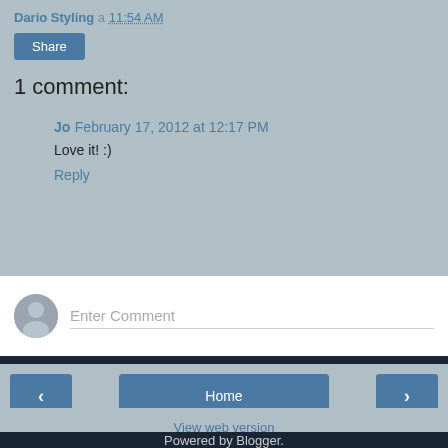Dario Styling a 11:54 AM
Share
1 comment:
Jo February 17, 2012 at 12:17 PM
Love it! :)
Reply
Enter Comment
Home
View web version
Powered by Blogger.